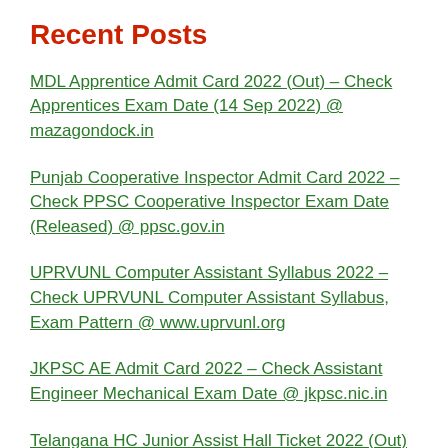Recent Posts
MDL Apprentice Admit Card 2022 (Out) – Check Apprentices Exam Date (14 Sep 2022) @ mazagondock.in
Punjab Cooperative Inspector Admit Card 2022 – Check PPSC Cooperative Inspector Exam Date (Released) @ ppsc.gov.in
UPRVUNL Computer Assistant Syllabus 2022 – Check UPRVUNL Computer Assistant Syllabus, Exam Pattern @ www.uprvunl.org
JKPSC AE Admit Card 2022 – Check Assistant Engineer Mechanical Exam Date @ jkpsc.nic.in
Telangana HC Junior Assist Hall Ticket 2022 (Out) – Check TS High Court Jr Assistant Exam Date (Released) @ tshc.gov.in